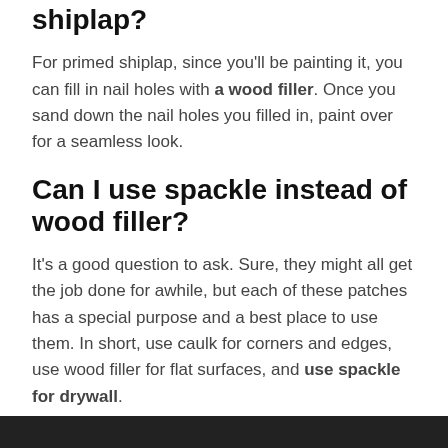shiplap?
For primed shiplap, since you'll be painting it, you can fill in nail holes with a wood filler. Once you sand down the nail holes you filled in, paint over for a seamless look.
Can I use spackle instead of wood filler?
It's a good question to ask. Sure, they might all get the job done for awhile, but each of these patches has a special purpose and a best place to use them. In short, use caulk for corners and edges, use wood filler for flat surfaces, and use spackle for drywall.
How do you fill big holes in wood?
[Figure (photo): Dark bottom bar representing the top of an image below the fold]